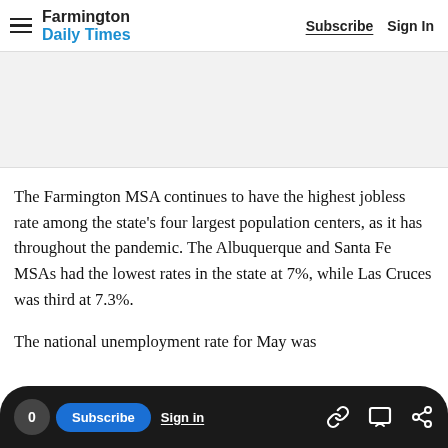Farmington Daily Times — Subscribe  Sign In
[Figure (other): Advertisement banner placeholder (gray background)]
The Farmington MSA continues to have the highest jobless rate among the state's four largest population centers, as it has throughout the pandemic. The Albuquerque and Santa Fe MSAs had the lowest rates in the state at 7%, while Las Cruces was third at 7.3%.
The national unemployment rate for May was less than half of the 13.3% rate from May 2020.